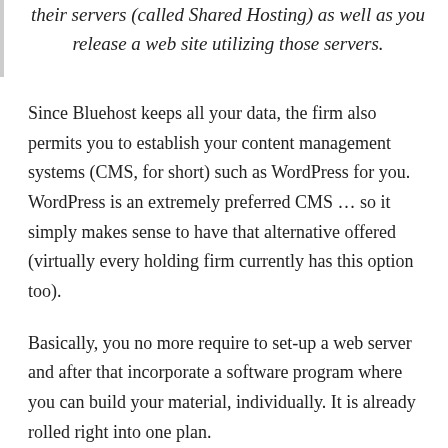their servers (called Shared Hosting) as well as you release a web site utilizing those servers.
Since Bluehost keeps all your data, the firm also permits you to establish your content management systems (CMS, for short) such as WordPress for you. WordPress is an extremely preferred CMS … so it simply makes sense to have that alternative offered (virtually every holding firm currently has this option too).
Basically, you no more require to set-up a web server and after that incorporate a software program where you can build your material, individually. It is already rolled right into one plan.
Is it secure to have Bluehost deal with your internet sites?